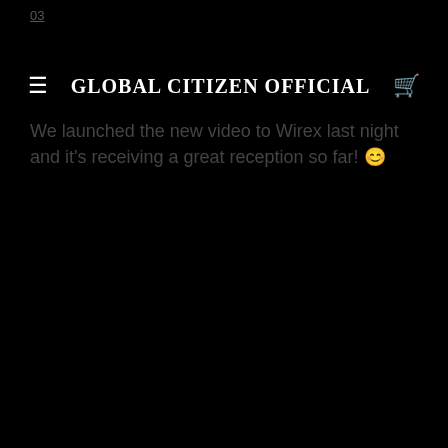03
≡   GLOBAL CITIZEN OFFICIAL   🛒
We launched the new video to Wirex last night and it's receiving a great reception so far! 😊